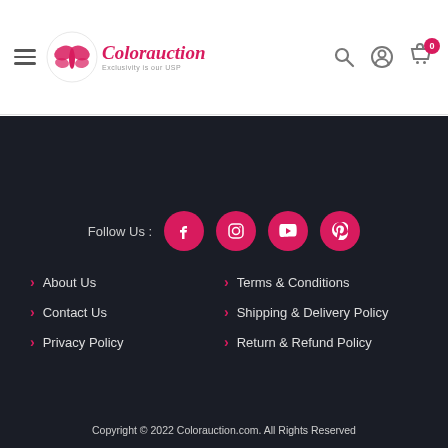Colorauction – Exclusivity is our USP
[Figure (logo): Colorauction logo with butterfly icon and tagline 'Exclusivity is our USP']
Follow Us :
About Us
Terms & Conditions
Contact Us
Shipping & Delivery Policy
Privacy Policy
Return & Refund Policy
Copyright © 2022 Colorauction.com. All Rights Reserved